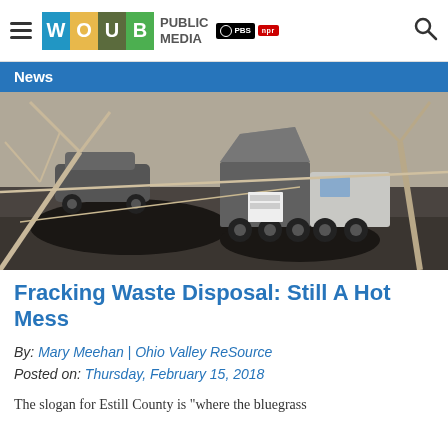WOUB PUBLIC MEDIA PBS NPR
News
[Figure (photo): Dump trucks unloading dark material (fracking waste) at an outdoor site with bare trees, a car parked in background, and industrial equipment.]
Fracking Waste Disposal: Still A Hot Mess
By: Mary Meehan | Ohio Valley ReSource
Posted on: Thursday, February 15, 2018
The slogan for Estill County is "where the bluegrass